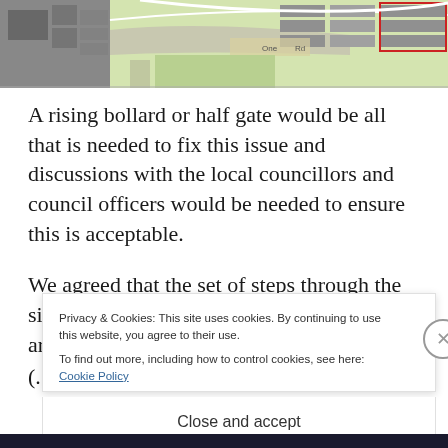[Figure (map): Aerial/plan view map showing building footprints and road layout, partially cropped at top of page]
A rising bollard or half gate would be all that is needed to fix this issue and discussions with the local councillors and council officers would be needed to ensure this is acceptable.
We agreed that the set of steps through the site are not ideal for cycles and the accessible lift...
Privacy & Cookies: This site uses cookies. By continuing to use this website, you agree to their use.
To find out more, including how to control cookies, see here: Cookie Policy
Close and accept